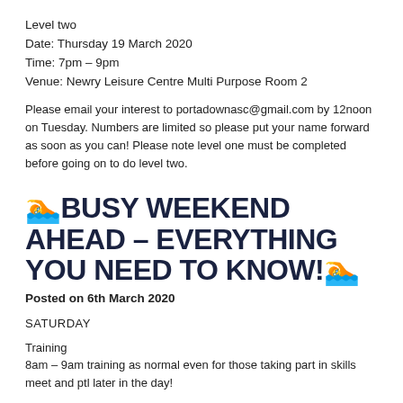Level two
Date: Thursday 19 March 2020
Time: 7pm – 9pm
Venue: Newry Leisure Centre Multi Purpose Room 2
Please email your interest to portadownasc@gmail.com by 12noon on Tuesday. Numbers are limited so please put your name forward as soon as you can! Please note level one must be completed before going on to do level two.
🏊BUSY WEEKEND AHEAD – EVERYTHING YOU NEED TO KNOW!🏊
Posted on 6th March 2020
SATURDAY
Training
8am – 9am training as normal even for those taking part in skills meet and ptl later in the day!
Waterpolo
9am – 10am full pool will be dedicated to waterpolo a rem…